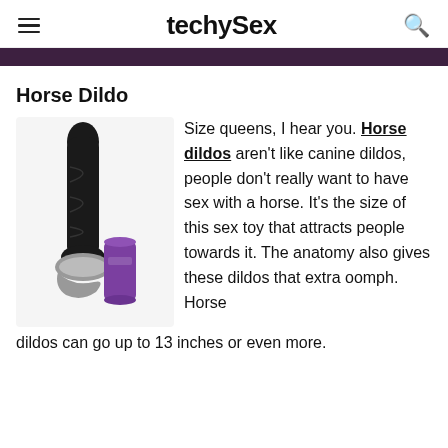techySex
Horse Dildo
[Figure (photo): A large black horse dildo standing next to a purple soda can for size comparison, on a white background.]
Size queens, I hear you. Horse dildos aren't like canine dildos, people don't really want to have sex with a horse. It's the size of this sex toy that attracts people towards it. The anatomy also gives these dildos that extra oomph. Horse dildos can go up to 13 inches or even more.